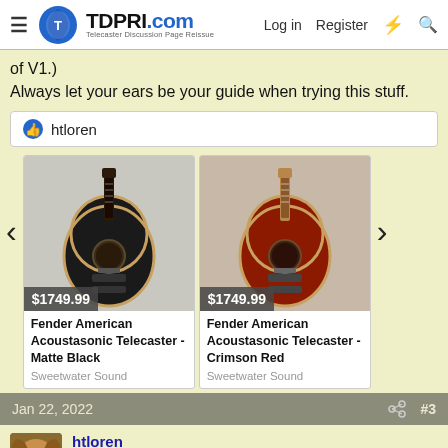TDPRI.com — Telecaster Discussion Page Reissue — Log in | Register
of V1.)
Always let your ears be your guide when trying this stuff.
👍 htloren
[Figure (photo): Fender American Acoustasonic Telecaster - Matte Black, priced at $1749.99, from Sweetwater Sound]
[Figure (photo): Fender American Acoustasonic Telecaster - Crimson Red, priced at $1749.99, from Sweetwater Sound]
Fender American Acoustasonic Telecaster - Matte Black
Sweetwater Sound
Fender American Acoustasonic Telecaster - Crimson Red
Sweetwater Sound
Jan 22, 2022   #3
htloren
Tele Meister